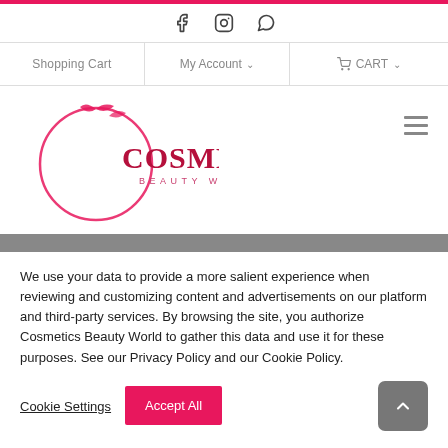[Figure (logo): Cosmetics Beauty World logo — pink circle with leaf motifs and the text COSMETICS BEAUTY WORLD]
Shopping Cart | My Account ∨ | CART ∨
We use your data to provide a more salient experience when reviewing and customizing content and advertisements on our platform and third-party services. By browsing the site, you authorize Cosmetics Beauty World to gather this data and use it for these purposes. See our Privacy Policy and our Cookie Policy.
Cookie Settings | Accept All